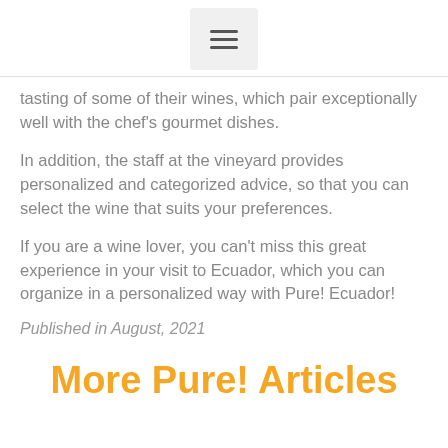[hamburger menu icon]
tasting of some of their wines, which pair exceptionally well with the chef's gourmet dishes.
In addition, the staff at the vineyard provides personalized and categorized advice, so that you can select the wine that suits your preferences.
If you are a wine lover, you can't miss this great experience in your visit to Ecuador, which you can organize in a personalized way with Pure! Ecuador!
Published in August, 2021
More Pure! Articles